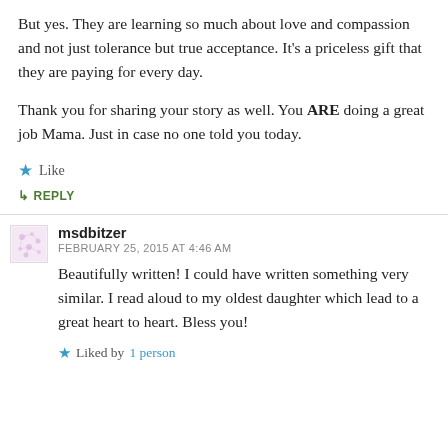But yes. They are learning so much about love and compassion and not just tolerance but true acceptance. It's a priceless gift that they are paying for every day.
Thank you for sharing your story as well. You ARE doing a great job Mama. Just in case no one told you today.
★ Like
↳ REPLY
msdbitzer
FEBRUARY 25, 2015 AT 4:46 AM
Beautifully written! I could have written something very similar. I read aloud to my oldest daughter which lead to a great heart to heart. Bless you!
★ Liked by 1 person